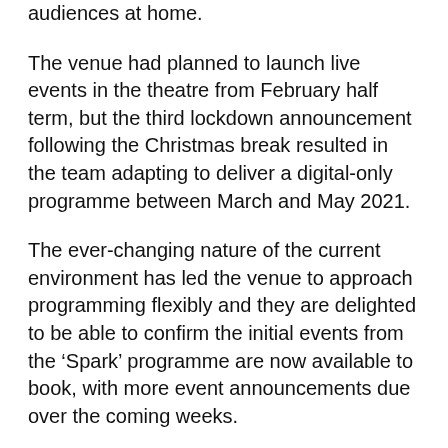audiences at home.
The venue had planned to launch live events in the theatre from February half term, but the third lockdown announcement following the Christmas break resulted in the team adapting to deliver a digital-only programme between March and May 2021.
The ever-changing nature of the current environment has led the venue to approach programming flexibly and they are delighted to be able to confirm the initial events from the ‘Spark’ programme are now available to book, with more event announcements due over the coming weeks.
‘Spark’, online, opens on 5 March, with a series of Rehearsed Readings. Each month the Theatre’s creative team will work with a different company of writers, directors and actors over an intensive